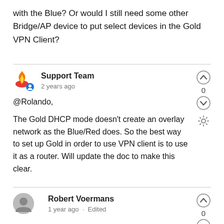with the Blue? Or would I still need some other Bridge/AP device to put select devices in the Gold VPN Client?
Support Team
2 years ago

@Rolando,

The Gold DHCP mode doesn't create an overlay network as the Blue/Red does. So the best way to set up Gold in order to use VPN client is to use it as a router. Will update the doc to make this clear.
Robert Voermans
1 year ago · Edited